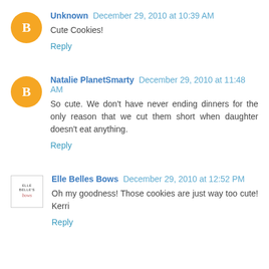Unknown December 29, 2010 at 10:39 AM
Cute Cookies!
Reply
Natalie PlanetSmarty December 29, 2010 at 11:48 AM
So cute. We don't have never ending dinners for the only reason that we cut them short when daughter doesn't eat anything.
Reply
Elle Belles Bows December 29, 2010 at 12:52 PM
Oh my goodness! Those cookies are just way too cute! Kerri
Reply